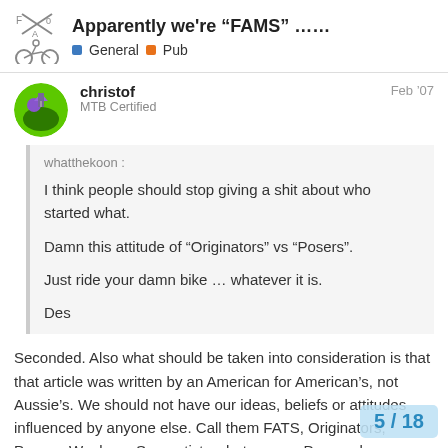Apparently we're "FAMS" …… | General | Pub
christof
MTB Certified
Feb '07
whatthekoon :

I think people should stop giving a shit about who started what.

Damn this attitude of "Originators" vs "Posers".

Just ride your damn bike … whatever it is.

Des
Seconded. Also what should be taken into consideration is that that article was written by an American for American's, not Aussie's. We should not have our ideas, beliefs or attitudes influenced by anyone else. Call them FATS, Originators, Posers, Wankers, Separatists whatever, as Des sa damn bike…".
5 / 18